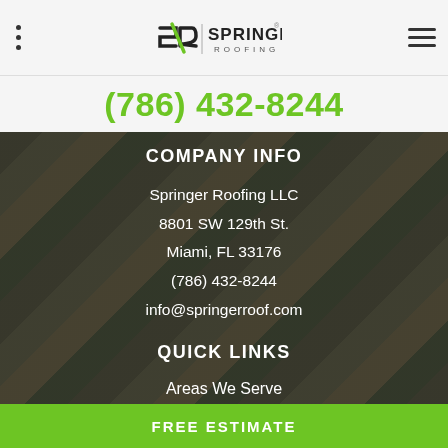Springer Roofing — navigation header with logo and menu
(786) 432-8244
COMPANY INFO
Springer Roofing LLC
8801 SW 129th St.
Miami, FL 33176
(786) 432-8244
info@springerroof.com
QUICK LINKS
Areas We Serve
About
Reviews
FREE ESTIMATE